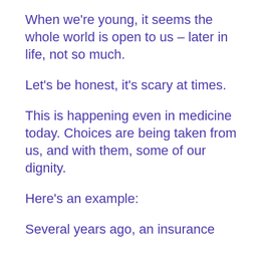When we're young, it seems the whole world is open to us – later in life, not so much.
Let's be honest, it's scary at times.
This is happening even in medicine today. Choices are being taken from us, and with them, some of our dignity.
Here's an example:
Several years ago, an insurance